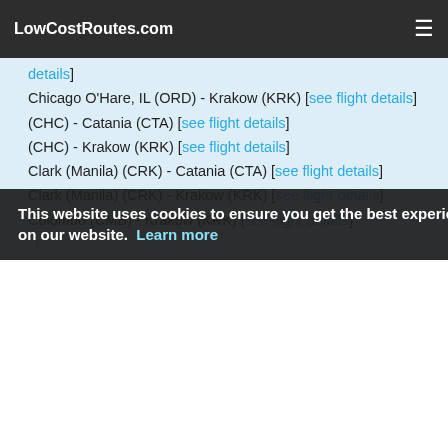LowCostRoutes.com
(details) [see flight details]
Chicago O'Hare, IL (ORD) - Krakow (KRK) [see flight details]
(CHC) - Catania (CTA) [see flight details]
(CHC) - Krakow (KRK) [see flight details]
Clark (Manila) (CRK) - Catania (CTA) [see flight details]
Clark (Manila) (CRK) - Krakow (KRK) [see flight details]
Colombo (CMB) - Krakow (KRK) [see flight details]
This website uses cookies to ensure you get the best experience on our website. Learn more